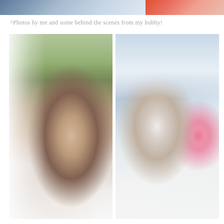[Figure (photo): Top cropped photo showing partial view of people, left side with blue/denim tones and right side with red floral pattern]
^Photos by me and some behind the scenes from my hubby!
[Figure (photo): Two side-by-side wedding photos. Left: photographer crouching on a wooden dock arranging a white wedding dress train, wearing pink top and braid. Right: bride and groom standing on a dock by a lake, with a young girl running by in pink shorts holding a camera.]